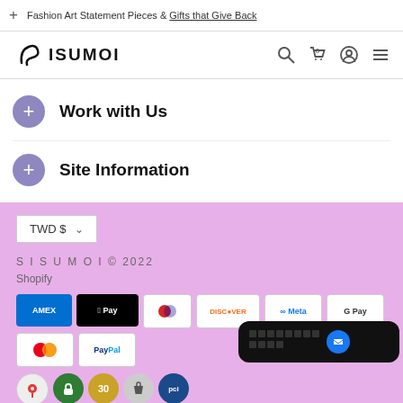Fashion Art Statement Pieces & Gifts that Give Back
[Figure (logo): SISUMOI brand logo with stylized S]
Work with Us
Site Information
TWD $
SISUMOI © 2022
Shopify
[Figure (other): Payment method icons: AMEX, Apple Pay, Diners, Discover, Meta, Google Pay, Mastercard, PayPal]